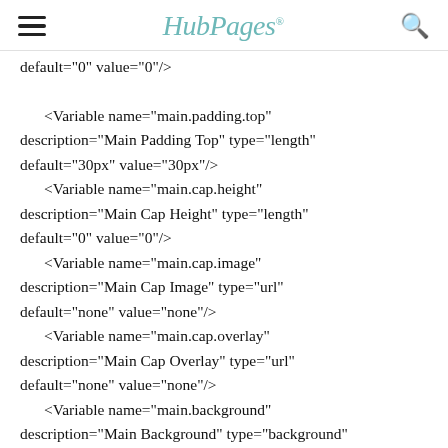HubPages
default="0" value="0"/>

    <Variable name="main.padding.top" description="Main Padding Top" type="length" default="30px" value="30px"/>
    <Variable name="main.cap.height" description="Main Cap Height" type="length" default="0" value="0"/>
    <Variable name="main.cap.image" description="Main Cap Image" type="url" default="none" value="none"/>
    <Variable name="main.cap.overlay" description="Main Cap Overlay" type="url" default="none" value="none"/>
    <Variable name="main.background" description="Main Background" type="background"